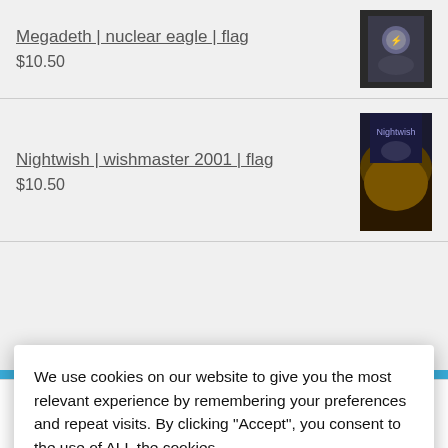Megadeth | nuclear eagle | flag
$10.50
Nightwish | wishmaster 2001 | flag
$10.50
We use cookies on our website to give you the most relevant experience by remembering your preferences and repeat visits. By clicking “Accept”, you consent to the use of ALL the cookies.
Cookie settings
ACCEPT
please mention this in the order notes. Maybe, just maybe, we can bump your order up
Dismiss